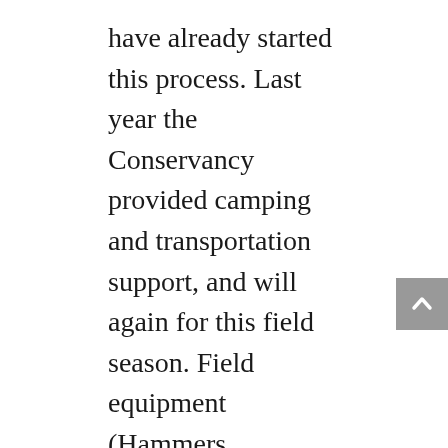have already started this process. Last year the Conservancy provided camping and transportation support, and will again for this field season. Field equipment (Hammers, Bruntons, Trimble GeoXT handheld GPS receivers for detailed mapping) will be provided by Oberlin, and Pomona Colleges. As part of our orientation on the island, Conservancy staff will give us an overview of the important biological (a rare, undeveloped island ecosystem 25 miles from downtown LA) and cultural (7000 years of pre-colonial habitation by the Tongva people) aspects of Catalina.
The final 1.5 weeks will be spent on campus at Pomona. There students will become